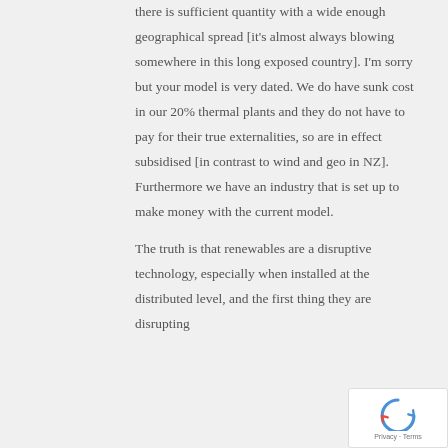there is sufficient quantity with a wide enough geographical spread [it's almost always blowing somewhere in this long exposed country]. I'm sorry but your model is very dated. We do have sunk cost in our 20% thermal plants and they do not have to pay for their true externalities, so are in effect subsidised [in contrast to wind and geo in NZ]. Furthermore we have an industry that is set up to make money with the current model.

The truth is that renewables are a disruptive technology, especially when installed at the distributed level, and the first thing they are disrupting
[Figure (other): reCAPTCHA badge with spinning arrows icon and 'Privacy - Terms' text]